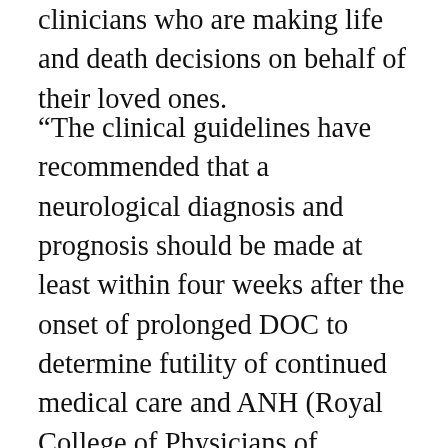clinicians who are making life and death decisions on behalf of their loved ones.
“The clinical guidelines have recommended that a neurological diagnosis and prognosis should be made at least within four weeks after the onset of prolonged DOC to determine futility of continued medical care and ANH (Royal College of Physicians of London. Under these circumstances, we propose that court oversight can provide an additional safeguard by including independent neuroscience experts to confirm the clinical diagnosis and prognosis of DOC and to ensure that the decision-making processes are well-informed and as